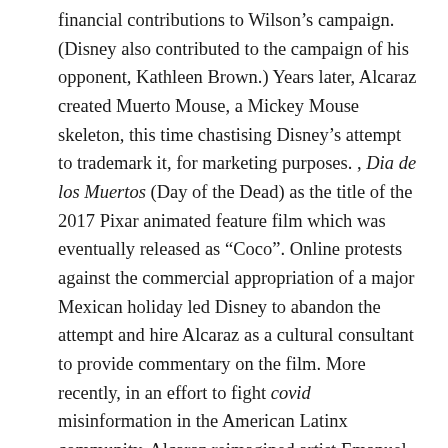financial contributions to Wilson's campaign. (Disney also contributed to the campaign of his opponent, Kathleen Brown.) Years later, Alcaraz created Muerto Mouse, a Mickey Mouse skeleton, this time chastising Disney's attempt to trademark it, for marketing purposes. , Dia de los Muertos (Day of the Dead) as the title of the 2017 Pixar animated feature film which was eventually released as “Coco”. Online protests against the commercial appropriation of a major Mexican holiday led Disney to abandon the attempt and hire Alcaraz as a cultural consultant to provide commentary on the film. More recently, in an effort to fight covid misinformation in the American Latinx community, Alcaraz reimagined artist Emanuel Martínez's 1967 depiction of Mexican Revolutionary leader Emiliano Zapata, “Tierra o Muerte” (“Earth or Death”), complete with his signature sombrero and sash bullets to the chest, but replacing his gun with a giant vaccine needle, and the caption “Vacuna o Muerte” (“Vaccine or Death”).
Alcaraz also targeted conservative Latinx, whom he portrayed in